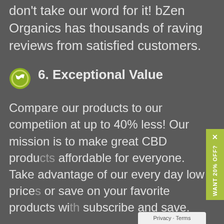don't take our word for it! bZen Organics has thousands of raving reviews from satisfied customers.
6. Exceptional Value
Compare our products to our competiion at up to 40% less! Our mission is to make great CBD products affordable for everyone. Take advantage of our every day low prices or save on your favorite products with subscribe and save.
7. Exceptional Customer Service
We treat our customers like family and